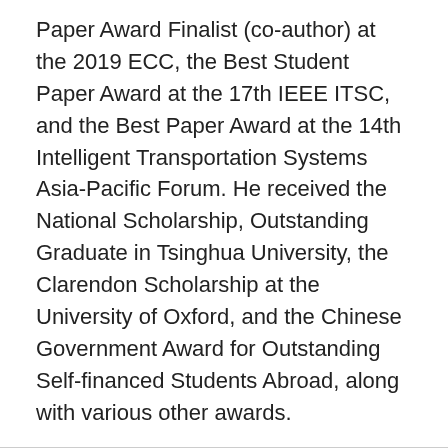Paper Award Finalist (co-author) at the 2019 ECC, the Best Student Paper Award at the 17th IEEE ITSC, and the Best Paper Award at the 14th Intelligent Transportation Systems Asia-Pacific Forum. He received the National Scholarship, Outstanding Graduate in Tsinghua University, the Clarendon Scholarship at the University of Oxford, and the Chinese Government Award for Outstanding Self-financed Students Abroad, along with various other awards.
Selected Publications:
Google Scholar Publications